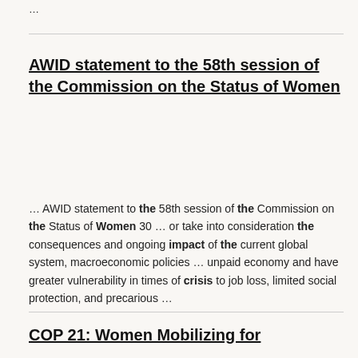…
AWID statement to the 58th session of the Commission on the Status of Women
… AWID statement to the 58th session of the Commission on the Status of Women 30 … or take into consideration the consequences and ongoing impact of the current global system, macroeconomic policies … unpaid economy and have greater vulnerability in times of crisis to job loss, limited social protection, and precarious …
COP 21: Women Mobilizing for